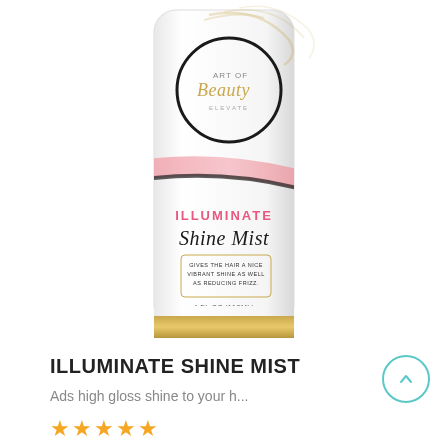[Figure (photo): Art of Beauty Illuminate Shine Mist product bottle — white cylindrical bottle with gold and pink accent stripes, circular logo at top reading 'Art of Beauty', pink text 'ILLUMINATE', cursive black text 'Shine Mist', small text box reading 'GIVES THE HAIR A NICE VIBRANT SHINE AS WELL AS REDUCING FRIZZ.', bottom label '4 FL OZ (118ML)', gold band at bottom]
ILLUMINATE SHINE MIST
Ads high gloss shine to your h...
[Figure (other): Five gold/orange star rating icons]